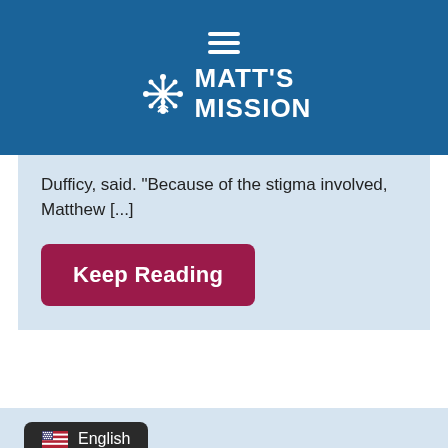MATT'S MISSION
Dufficy, said. "Because of the stigma involved, Matthew [...]
Keep Reading
English